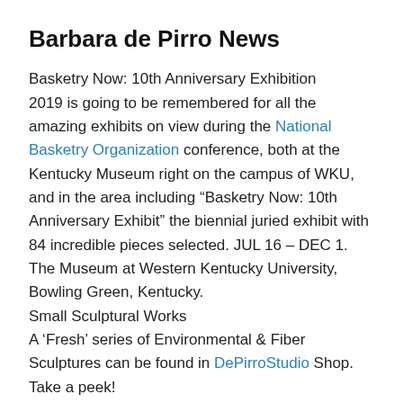Barbara de Pirro News
Basketry Now: 10th Anniversary Exhibition
2019 is going to be remembered for all the amazing exhibits on view during the National Basketry Organization conference, both at the Kentucky Museum right on the campus of WKU, and in the area including “Basketry Now: 10th Anniversary Exhibit” the biennial juried exhibit with 84 incredible pieces selected. JUL 16 – DEC 1. The Museum at Western Kentucky University, Bowling Green, Kentucky.
Small Sculptural Works
A ‘Fresh’ series of Environmental & Fiber Sculptures can be found in DePirroStudio Shop. Take a peek!
Dates to Remember:
‘The Sculptural Form’ Workshop